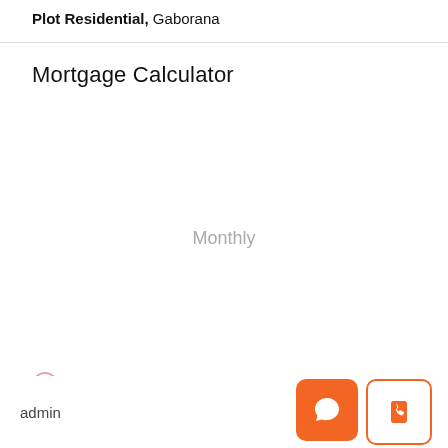Plot Residential, Gaborana
Mortgage Calculator
Monthly
Principal & Interest
admin